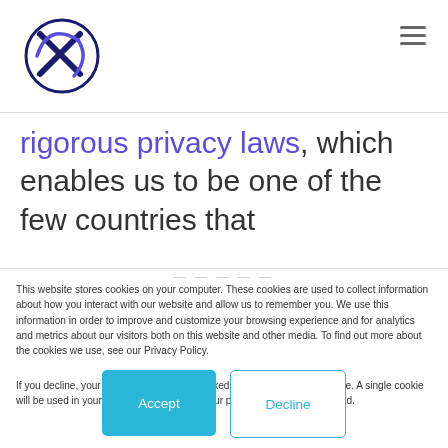[Figure (logo): Circular logo with an X and checkmark in dark blue and purple]
rigorous privacy laws, which enables us to be one of the few countries that
This website stores cookies on your computer. These cookies are used to collect information about how you interact with our website and allow us to remember you. We use this information in order to improve and customize your browsing experience and for analytics and metrics about our visitors both on this website and other media. To find out more about the cookies we use, see our Privacy Policy.
If you decline, your information won't be tracked when you visit this website. A single cookie will be used in your browser to remember your preference not to be tracked.